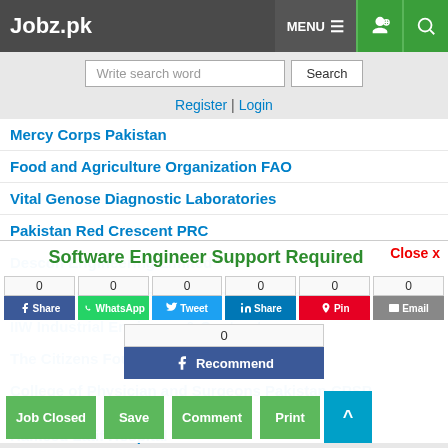Jobz.pk
Write search word | Search
Register | Login
Mercy Corps Pakistan
Food and Agriculture Organization FAO
Vital Genose Diagnostic Laboratories
Pakistan Red Crescent PRC
Descon Engineering Limited
House Building Finance Company Limited HBFCL
IIW Industrial Engineers & Contractors
The Citizens Foundation
College of Physician and Surgeons Pakistan CPSP
Software Engineer Support Required
0 Share | 0 WhatsApp | 0 Tweet | 0 Share | 0 Pin | 0 Email | 0 Recommend
Job Closed | Save | Comment | Print
Hameed Latif Hospital